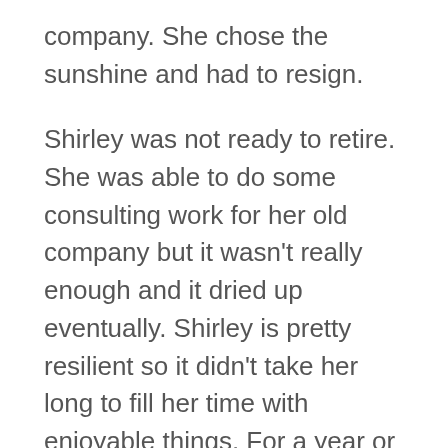company. She chose the sunshine and had to resign.
Shirley was not ready to retire. She was able to do some consulting work for her old company but it wasn't really enough and it dried up eventually. Shirley is pretty resilient so it didn't take her long to fill her time with enjoyable things. For a year or so she stayed pretty busy. But one day she realized that even though she was busy, her life didn't feel very fulfilling.